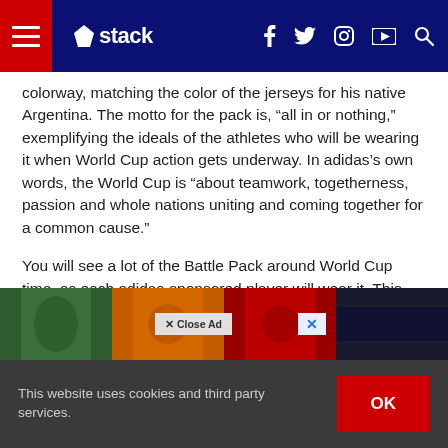stack
colorway, matching the color of the jerseys for his native Argentina. The motto for the pack is, “all in or nothing,” exemplifying the ideals of the athletes who will be wearing it when World Cup action gets underway. In adidas’s own words, the World Cup is “about teamwork, togetherness, passion and whole nations uniting and coming together for a common cause.”
You will see a lot of the Battle Pack around World Cup time, as each adidas-sponsored player will wear it. This includes the likes of Messi, Mesut Ozil, Dani Alves, Luis Saurez, Oscar, Philipp Lahm, Karim Benzema, Javi Martinez, and Jozy Altidore. The cleats w… but on the fie… n May
This website uses cookies and third party services.